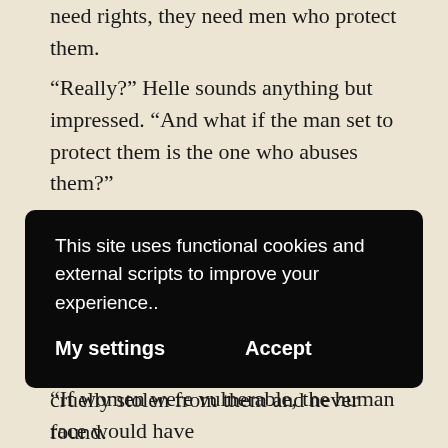need rights, they need men who protect them.
“Really?” Helle sounds anything but impressed. “And what if the man set to protect them is the one who abuses them?”
“Then that is wrong.” Adam shrugs.
“I’m not vulnerable,” Kit objects. Her voice is low and dark, sultry enough that both Matthew and Jason throw her interested looks.
“If women were vulnerable, the human race would have
This site uses functional cookies and external scripts to improve your experience..
My settings    Accept
cruelly stolen from them and never found.